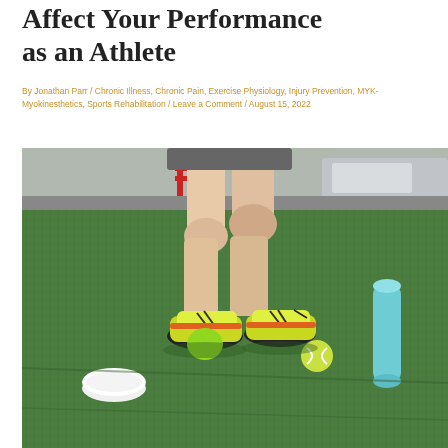Affect Your Performance as an Athlete
By Jonathan Parr / Chronic Illness, Chronic Pain, Exercise Physiology, Injury Prevention, MYK-Myokinesthetics, Sports Rehabilitation / Leave a Comment / August 15, 2022
[Figure (photo): An athlete's legs and feet wearing colorful yellow and green running shoes, standing on artificial green turf with exercise equipment including a foam roller, tennis ball, and small white disc/puck visible on the ground.]